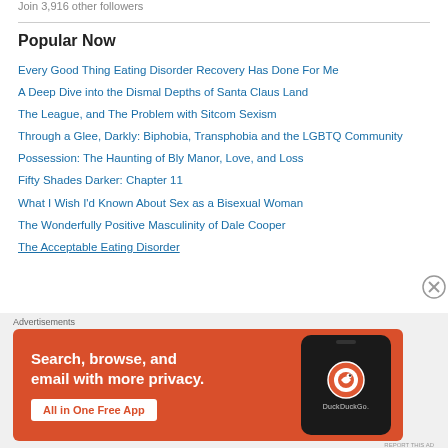Join 3,916 other followers
Popular Now
Every Good Thing Eating Disorder Recovery Has Done For Me
A Deep Dive into the Dismal Depths of Santa Claus Land
The League, and The Problem with Sitcom Sexism
Through a Glee, Darkly: Biphobia, Transphobia and the LGBTQ Community
Possession: The Haunting of Bly Manor, Love, and Loss
Fifty Shades Darker: Chapter 11
What I Wish I'd Known About Sex as a Bisexual Woman
The Wonderfully Positive Masculinity of Dale Cooper
The Acceptable Eating Disorder
[Figure (screenshot): DuckDuckGo advertisement banner: orange background with text 'Search, browse, and email with more privacy. All in One Free App' with a phone mockup showing the DuckDuckGo logo]
Advertisements